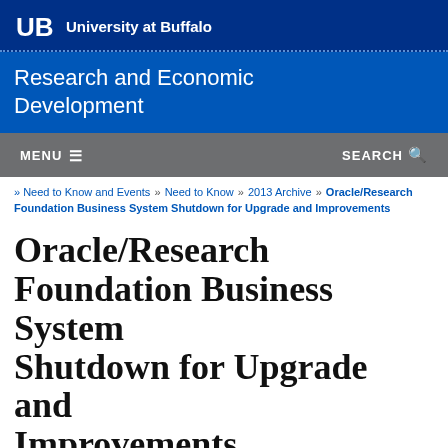UB University at Buffalo
Research and Economic Development
MENU  SEARCH
» Need to Know and Events » Need to Know » 2013 Archive » Oracle/Research Foundation Business System Shutdown for Upgrade and Improvements
Oracle/Research Foundation Business System Shutdown for Upgrade and Improvements
Published November 29, 2013